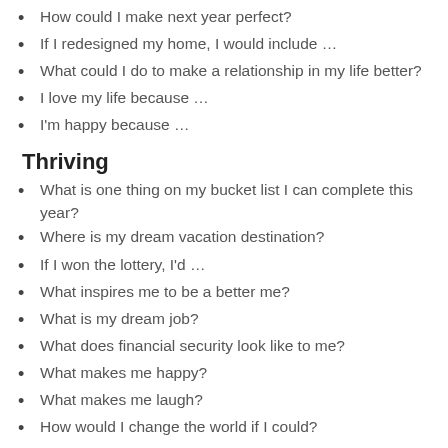How could I make next year perfect?
If I redesigned my home, I would include …
What could I do to make a relationship in my life better?
I love my life because …
I'm happy because …
Thriving
What is one thing on my bucket list I can complete this year?
Where is my dream vacation destination?
If I won the lottery, I'd …
What inspires me to be a better me?
What is my dream job?
What does financial security look like to me?
What makes me happy?
What makes me laugh?
How would I change the world if I could?